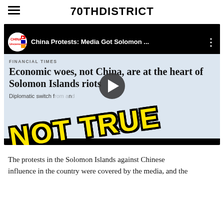70THDISTRICT
[Figure (screenshot): YouTube video thumbnail showing a Financial Times article headline 'Economic woes, not China, are at the heart of Solomon Islands riots' overlaid with large yellow 'NOT TRUE' text stamp. The video is titled 'China Protests: Media Got Solomon ...' and features the China Uncensored channel avatar.]
The protests in the Solomon Islands against Chinese influence in the country were covered by the media, and the